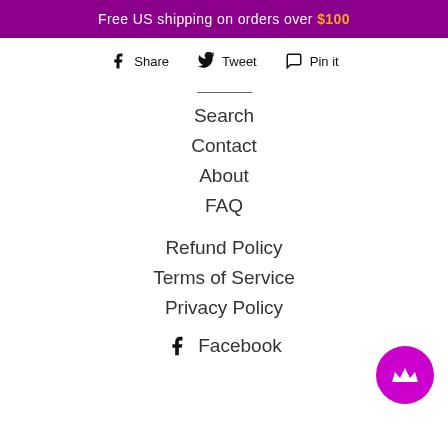Free US shipping on orders over $100
Share  Tweet  Pin it
Search
Contact
About
FAQ
Refund Policy
Terms of Service
Privacy Policy
Facebook
[Figure (illustration): Magenta circular button with a white crown icon in the bottom right corner]